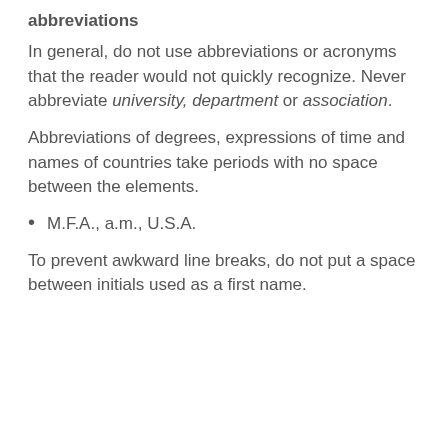abbreviations
In general, do not use abbreviations or acronyms that the reader would not quickly recognize. Never abbreviate university, department or association.
Abbreviations of degrees, expressions of time and names of countries take periods with no space between the elements.
M.F.A., a.m., U.S.A.
To prevent awkward line breaks, do not put a space between initials used as a first name.